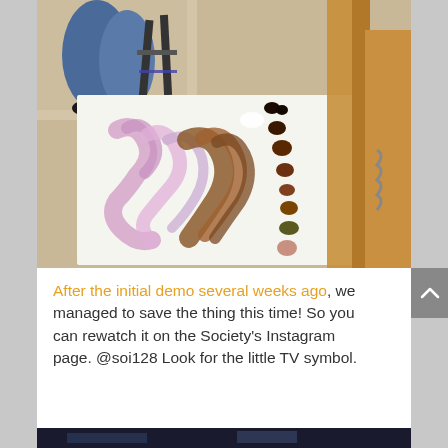[Figure (photo): An art studio scene shot from above showing a white table surface with colorful paint strokes or ink — purple/pink and brown flowing shapes on the left side, and a row of small brown/dark pigment samples or materials along the right. A wooden easel or frame is visible on the right. A person's legs in jeans and black shoes are visible at the top left, along with a folding chair.]
After the initial demo several weeks ago, we managed to save the thing this time! So you can rewatch it on the Society's Instagram page. @soi128 Look for the little TV symbol.
[Figure (photo): Bottom strip of another photo, partially visible — appears to be a dark scene.]